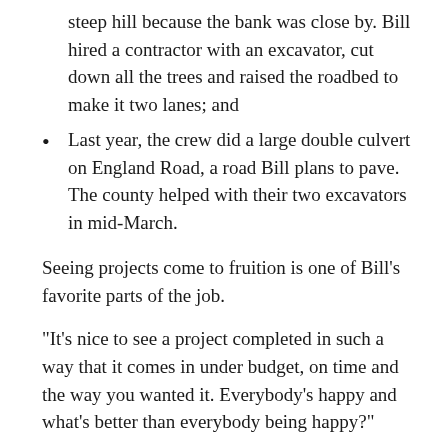steep hill because the bank was close by. Bill hired a contractor with an excavator, cut down all the trees and raised the roadbed to make it two lanes; and
Last year, the crew did a large double culvert on England Road, a road Bill plans to pave. The county helped with their two excavators in mid-March.
Seeing projects come to fruition is one of Bill's favorite parts of the job.
"It's nice to see a project completed in such a way that it comes in under budget, on time and the way you wanted it. Everybody's happy and what's better than everybody being happy?"